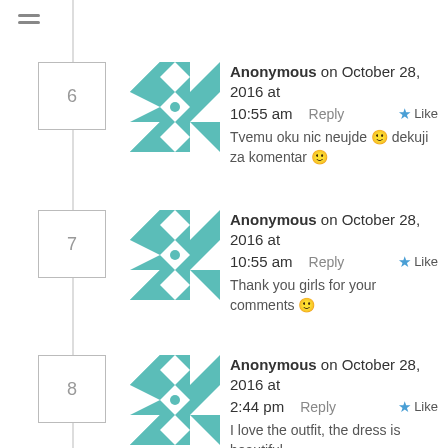6 — Anonymous on October 28, 2016 at 10:55 am — Reply — Like — Tvemu oku nic neujde 🙂 dekuji za komentar 🙂
7 — Anonymous on October 28, 2016 at 10:55 am — Reply — Like — Thank you girls for your comments 🙂
8 — Anonymous on October 28, 2016 at 2:44 pm — Reply — Like — I love the outfit, the dress is beautiful. ❤